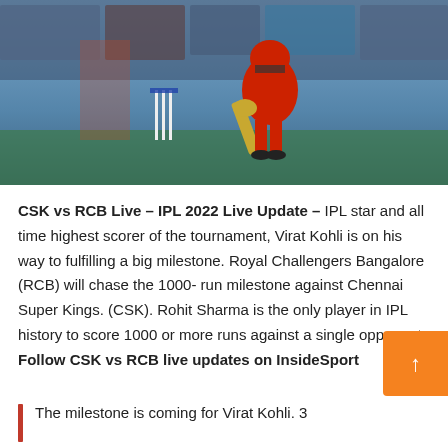[Figure (photo): Cricket player in red uniform batting, with stumps visible in background at an IPL cricket stadium]
CSK vs RCB Live – IPL 2022 Live Update – IPL star and all time highest scorer of the tournament, Virat Kohli is on his way to fulfilling a big milestone. Royal Challengers Bangalore (RCB) will chase the 1000-run milestone against Chennai Super Kings. (CSK). Rohit Sharma is the only player in IPL history to score 1000 or more runs against a single opponent: Follow CSK vs RCB live updates on InsideSport
The milestone is coming for Virat Kohli. 3